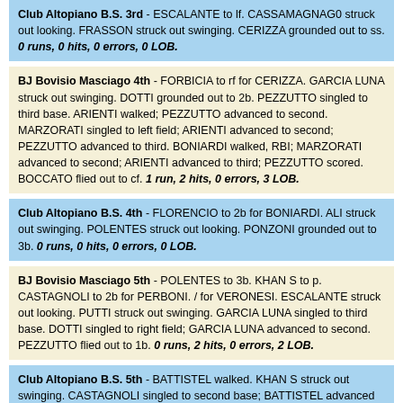Club Altopiano B.S. 3rd - ESCALANTE to lf. CASSAMAGNAG0 struck out looking. FRASSON struck out swinging. CERIZZA grounded out to ss. 0 runs, 0 hits, 0 errors, 0 LOB.
BJ Bovisio Masciago 4th - FORBICIA to rf for CERIZZA. GARCIA LUNA struck out swinging. DOTTI grounded out to 2b. PEZZUTTO singled to third base. ARIENTI walked; PEZZUTTO advanced to second. MARZORATI singled to left field; ARIENTI advanced to second; PEZZUTTO advanced to third. BONIARDI walked, RBI; MARZORATI advanced to second; ARIENTI advanced to third; PEZZUTTO scored. BOCCATO flied out to cf. 1 run, 2 hits, 0 errors, 3 LOB.
Club Altopiano B.S. 4th - FLORENCIO to 2b for BONIARDI. ALI struck out swinging. POLENTES struck out looking. PONZONI grounded out to 3b. 0 runs, 0 hits, 0 errors, 0 LOB.
BJ Bovisio Masciago 5th - POLENTES to 3b. KHAN S to p. CASTAGNOLI to 2b for PERBONI. / for VERONESI. ESCALANTE struck out looking. PUTTI struck out swinging. GARCIA LUNA singled to third base. DOTTI singled to right field; GARCIA LUNA advanced to second. PEZZUTTO flied out to 1b. 0 runs, 2 hits, 0 errors, 2 LOB.
Club Altopiano B.S. 5th - BATTISTEL walked. KHAN S struck out swinging. CASTAGNOLI singled to second base; BATTISTEL advanced